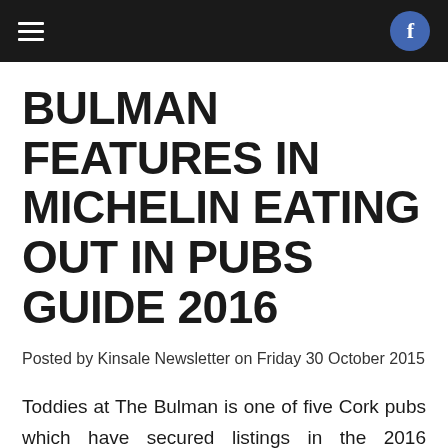BULMAN FEATURES IN MICHELIN EATING OUT IN PUBS GUIDE 2016
Posted by Kinsale Newsletter on Friday 30 October 2015
Toddies at The Bulman is one of five Cork pubs which have secured listings in the 2016 Michelin ‘Eating Out In Pubs’ Guide